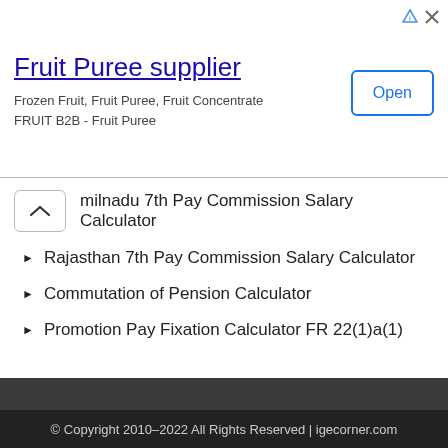[Figure (screenshot): Advertisement banner for Fruit Puree supplier with title, subtitle text, and an Open button]
Tamilnadu 7th Pay Commission Salary Calculator
Rajasthan 7th Pay Commission Salary Calculator
Commutation of Pension Calculator
Promotion Pay Fixation Calculator FR 22(1)a(1)
© Copyright 2010–2022 All Rights Reserved | igecorner.com